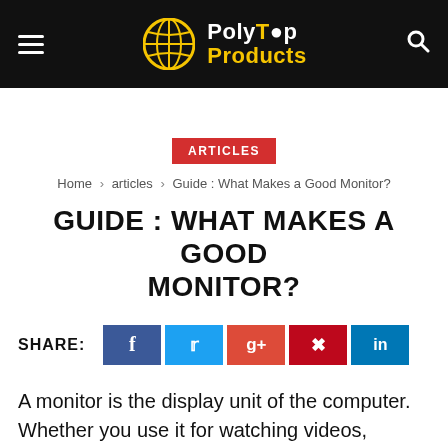PolyTop Products
ARTICLES
Home › articles › Guide : What Makes a Good Monitor?
GUIDE : WHAT MAKES A GOOD MONITOR?
SHARE: [social share buttons: Facebook, Twitter, Google+, Pinterest, LinkedIn]
A monitor is the display unit of the computer. Whether you use it for watching videos, reading texts, typing, or gaming, the monitor ensures